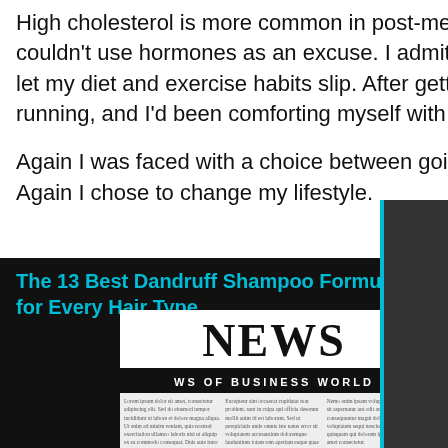High cholesterol is more common in post-menopausal women, but I knew that I couldn't use hormones as an excuse. I admitted that over the past few years I'd really let my diet and exercise habits slip. After getting an injury during a race, I'd stopped running, and I'd been comforting myself with food.
Again I was faced with a choice between going on medication or overhauling my life. Again I chose to change my lifestyle.
The 13 Best Dandruff Shampoo Formulas for Every Hair Type
[Figure (photo): A newspaper image showing the word NEWS in large bold serif font, with a subtitle bar reading 'NEWS OF BUSINESS WORLD', and below it columns of small newspaper text.]